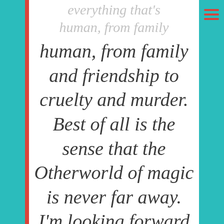everything that's human, from family and friendship to cruelty and murder. Best of all is the sense that the Otherworld of magic is never far away. I'm looking forward to seeing these stories brought to life